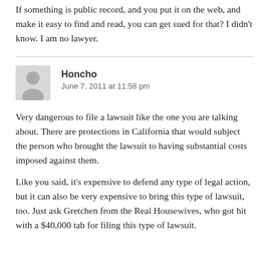If something is public record, and you put it on the web, and make it easy to find and read, you can get sued for that? I didn't know. I am no lawyer.
Honcho
June 7, 2011 at 11:58 pm
Very dangerous to file a lawsuit like the one you are talking about. There are protections in California that would subject the person who brought the lawsuit to having substantial costs imposed against them.
Like you said, it's expensive to defend any type of legal action, but it can also be very expensive to bring this type of lawsuit, too. Just ask Gretchen from the Real Housewives, who got hit with a $40,000 tab for filing this type of lawsuit.